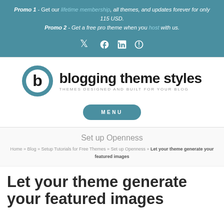Promo 1 - Get our lifetime membership, all themes, and updates forever for only 115 USD. Promo 2 - Get a free pro theme when you host with us.
[Figure (logo): Blogging Theme Styles logo with circular 'b' icon and tagline 'THEMES DESIGNED AND BUILT FOR YOUR BLOG']
MENU
Set up Openness
Home » Blog » Setup Tutorials for Free Themes » Set up Openness » Let your theme generate your featured images
Let your theme generate your featured images